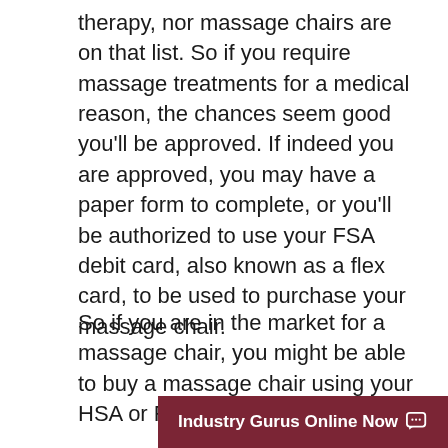therapy, nor massage chairs are on that list. So if you require massage treatments for a medical reason, the chances seem good you'll be approved. If indeed you are approved, you may have a paper form to complete, or you'll be authorized to use your FSA debit card, also known as a flex card, to be used to purchase your massage chair.
So if you are in the market for a massage chair, you might be able to buy a massage chair using your HSA or FSA.
[Figure (other): Dark red chat bar at bottom right with text 'Industry Gurus Online Now' and a speech bubble icon]